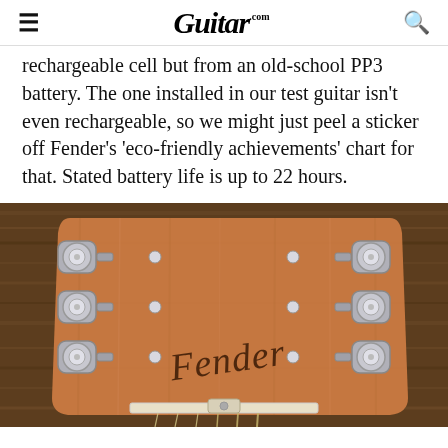Guitar.com
rechargeable cell but from an old-school PP3 battery. The one installed in our test guitar isn't even rechargeable, so we might just peel a sticker off Fender's 'eco-friendly achievements' chart for that. Stated battery life is up to 22 hours.
[Figure (photo): Close-up photograph of a Fender guitar headstock with six chrome tuning pegs on a natural wood neck, resting on a wooden surface. The Fender logo is visible in script on the headstock.]